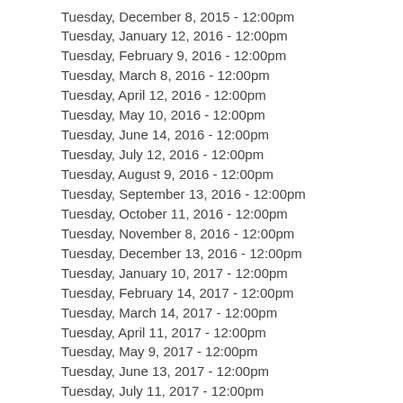Tuesday, December 8, 2015 - 12:00pm
Tuesday, January 12, 2016 - 12:00pm
Tuesday, February 9, 2016 - 12:00pm
Tuesday, March 8, 2016 - 12:00pm
Tuesday, April 12, 2016 - 12:00pm
Tuesday, May 10, 2016 - 12:00pm
Tuesday, June 14, 2016 - 12:00pm
Tuesday, July 12, 2016 - 12:00pm
Tuesday, August 9, 2016 - 12:00pm
Tuesday, September 13, 2016 - 12:00pm
Tuesday, October 11, 2016 - 12:00pm
Tuesday, November 8, 2016 - 12:00pm
Tuesday, December 13, 2016 - 12:00pm
Tuesday, January 10, 2017 - 12:00pm
Tuesday, February 14, 2017 - 12:00pm
Tuesday, March 14, 2017 - 12:00pm
Tuesday, April 11, 2017 - 12:00pm
Tuesday, May 9, 2017 - 12:00pm
Tuesday, June 13, 2017 - 12:00pm
Tuesday, July 11, 2017 - 12:00pm
Tuesday, August 8, 2017 - 12:00pm
Tuesday, September 12, 2017 - 12:00pm
Tuesday, October 10, 2017 - 12:00pm
Tuesday, November 14, 2017 - 12:00pm
Tuesday, December 12, 2017 - 12:00pm